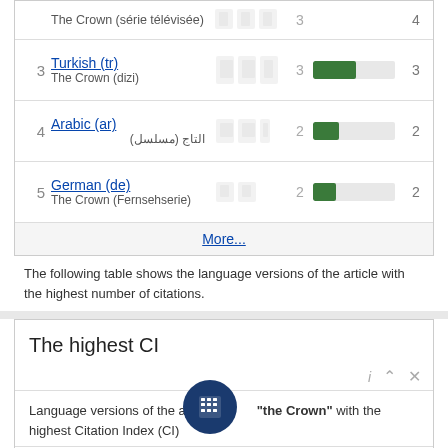| # | Language |  |  |  |
| --- | --- | --- | --- | --- |
|  | The Crown (série télévisée) |  | 3 | 4 |
| 3 | Turkish (tr) / The Crown (dizi) |  | 3 | 3 |
| 4 | Arabic (ar) / التاج (مسلسل) |  | 2 | 2 |
| 5 | German (de) / The Crown (Fernsehserie) |  | 2 | 2 |
More...
The following table shows the language versions of the article with the highest number of citations.
The highest CI
Language versions of the article "The Crown" with the highest Citation Index (CI)
| # | Language | CI award | Relative CI |
| --- | --- | --- | --- |